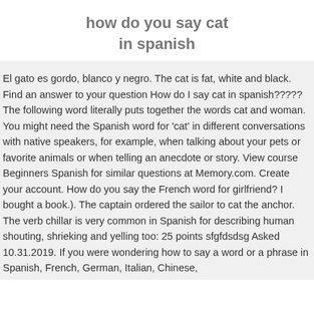how do you say cat in spanish
El gato es gordo, blanco y negro. The cat is fat, white and black. Find an answer to your question How do I say cat in spanish????? The following word literally puts together the words cat and woman. You might need the Spanish word for 'cat' in different conversations with native speakers, for example, when talking about your pets or favorite animals or when telling an anecdote or story. View course Beginners Spanish for similar questions at Memory.com. Create your account. How do you say the French word for girlfriend? I bought a book.). The captain ordered the sailor to cat the anchor. The verb chillar is very common in Spanish for describing human shouting, shrieking and yelling too: 25 points sfgfdsdsg Asked 10.31.2019. If you were wondering how to say a word or a phrase in Spanish, French, German, Italian, Chinese, Japanese, Russian, this site will help you do that.